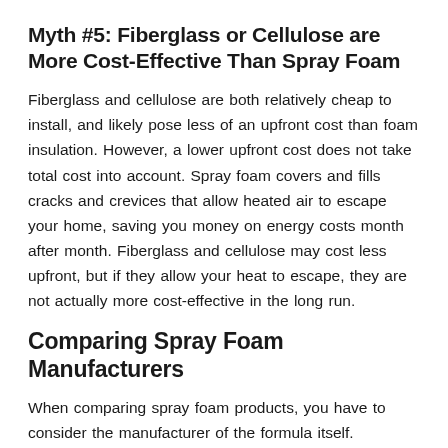Myth #5: Fiberglass or Cellulose are More Cost-Effective Than Spray Foam
Fiberglass and cellulose are both relatively cheap to install, and likely pose less of an upfront cost than foam insulation. However, a lower upfront cost does not take total cost into account. Spray foam covers and fills cracks and crevices that allow heated air to escape your home, saving you money on energy costs month after month. Fiberglass and cellulose may cost less upfront, but if they allow your heat to escape, they are not actually more cost-effective in the long run.
Comparing Spray Foam Manufacturers
When comparing spray foam products, you have to consider the manufacturer of the formula itself.